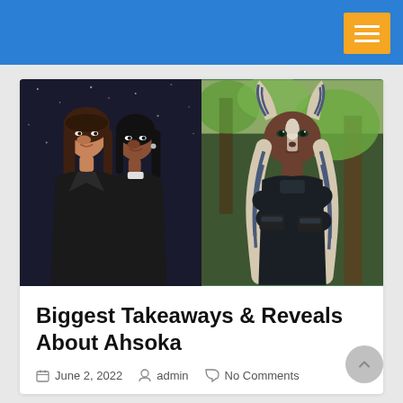[Figure (photo): Two women posing together in black jackets on a dark background (left), and a woman in Ahsoka Tano costume with crossed arms in an outdoor setting (right)]
Biggest Takeaways & Reveals About Ahsoka
June 2, 2022   admin   No Comments